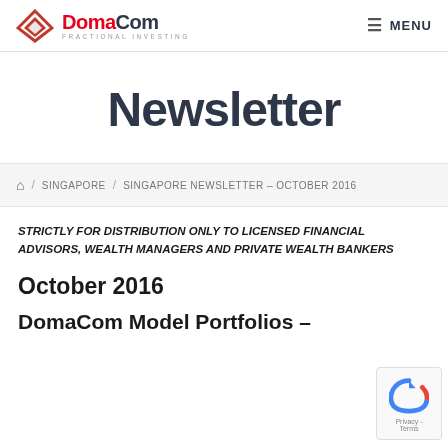DomaCom FRACTIONAL INVESTING | MENU
Newsletter
🏠 / SINGAPORE / SINGAPORE NEWSLETTER – OCTOBER 2016
STRICTLY FOR DISTRIBUTION ONLY TO LICENSED FINANCIAL ADVISORS, WEALTH MANAGERS AND PRIVATE WEALTH BANKERS
October 2016
DomaCom Model Portfolios –